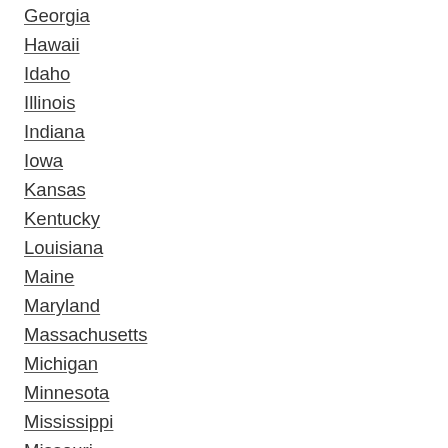Georgia
Hawaii
Idaho
Illinois
Indiana
Iowa
Kansas
Kentucky
Louisiana
Maine
Maryland
Massachusetts
Michigan
Minnesota
Mississippi
Missouri
Montana
Nebraska
Nevada